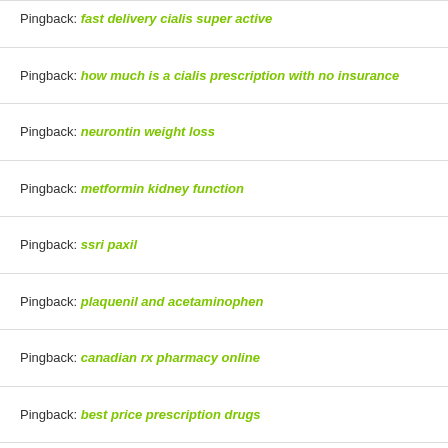Pingback: fast delivery cialis super active
Pingback: how much is a cialis prescription with no insurance
Pingback: neurontin weight loss
Pingback: metformin kidney function
Pingback: ssri paxil
Pingback: plaquenil and acetaminophen
Pingback: canadian rx pharmacy online
Pingback: best price prescription drugs
Pingback: cialis australia